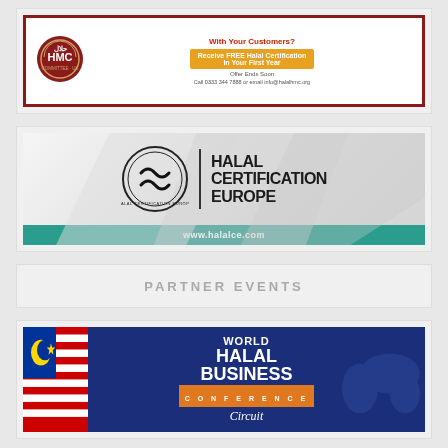[Figure (illustration): HMC (Halal Monitoring Committee UK) advertisement with red circular logo, red border, orange button offering Free Halal Certification in First Year, contact details: Call 0333 344 7888 or email info@halalhmc.org]
[Figure (logo): Halal Certification Europe advertisement with circular HCE logo, black vertical divider, bold text HALAL CERTIFICATION EUROPE on grey geometric background, teal footer bar with www.halalce.com]
PARTNER EVENTS
[Figure (illustration): World Halal Business Conference Circuit advertisement with Malaysian flag graphic on left, dark blue background with world map silhouette, orange CONFERENCE bar, italic Circuit text]